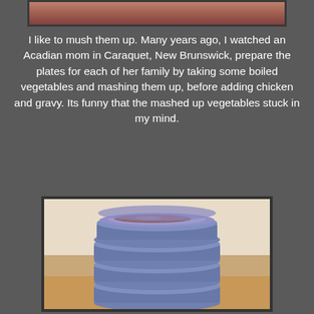[Figure (photo): Top portion of a food photo, partially visible at the top of the page, cropped]
I like to mush them up. Many years ago, I watched an Acadian mom in Caraquet, New Brunswick, prepare the plates for each of her family by taking some boiled vegetables and mashing them up, before adding chicken and gravy. Its funny that the mashed up vegetables stuck in my mind.
[Figure (photo): A stack of four round plastic food storage containers with blue lids, filled with what appears to be a reddish-brown food mixture, sitting on a wooden surface]